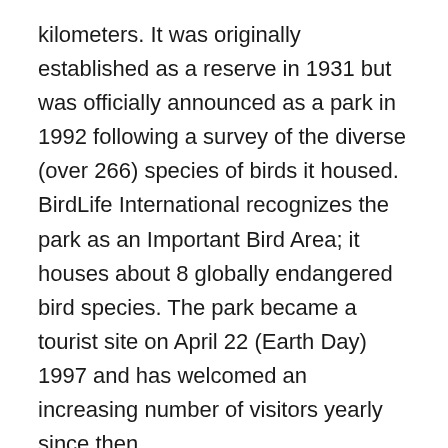kilometers. It was originally established as a reserve in 1931 but was officially announced as a park in 1992 following a survey of the diverse (over 266) species of birds it housed. BirdLife International recognizes the park as an Important Bird Area; it houses about 8 globally endangered bird species. The park became a tourist site on April 22 (Earth Day) 1997 and has welcomed an increasing number of visitors yearly since then.
The park is also home to many rare animals such as the dwarf crocodiles, Home's hinged tortoise, and forest elephants, as well as an exotic array of wet forest flora. It also houses the Komfo Boateng's Shrine, which many may find interesting. The Kakum